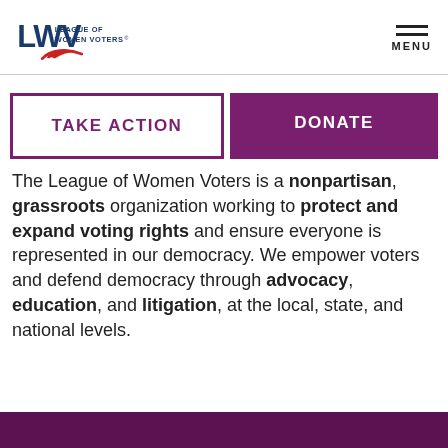League of Women Voters — MENU
TAKE ACTION
DONATE
The League of Women Voters is a nonpartisan, grassroots organization working to protect and expand voting rights and ensure everyone is represented in our democracy. We empower voters and defend democracy through advocacy, education, and litigation, at the local, state, and national levels.